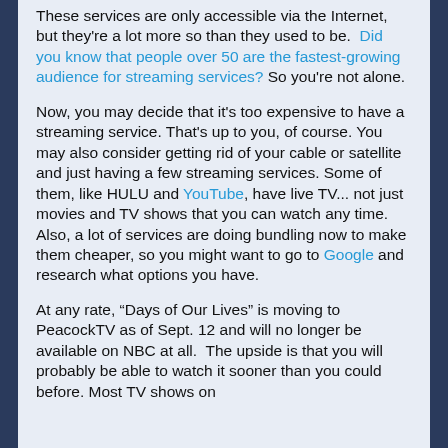These services are only accessible via the Internet, but they're a lot more so than they used to be. Did you know that people over 50 are the fastest-growing audience for streaming services? So you're not alone.
Now, you may decide that it's too expensive to have a streaming service. That's up to you, of course. You may also consider getting rid of your cable or satellite and just having a few streaming services. Some of them, like HULU and YouTube, have live TV... not just movies and TV shows that you can watch any time. Also, a lot of services are doing bundling now to make them cheaper, so you might want to go to Google and research what options you have.
At any rate, “Days of Our Lives” is moving to PeacockTV as of Sept. 12 and will no longer be available on NBC at all. The upside is that you will probably be able to watch it sooner than you could before. Most TV shows on